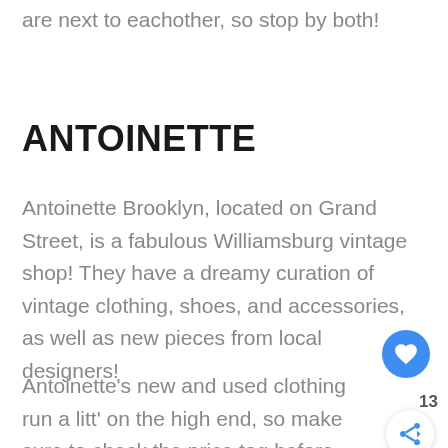are next to eachother, so stop by both!
ANTOINETTE
Antoinette Brooklyn, located on Grand Street, is a fabulous Williamsburg vintage shop! They have a dreamy curation of vintage clothing, shoes, and accessories, as well as new pieces from local designers!
Antoinette's new and used clothing run a litt' on the high end, so make sure to check the price tag before falling in love with one of their